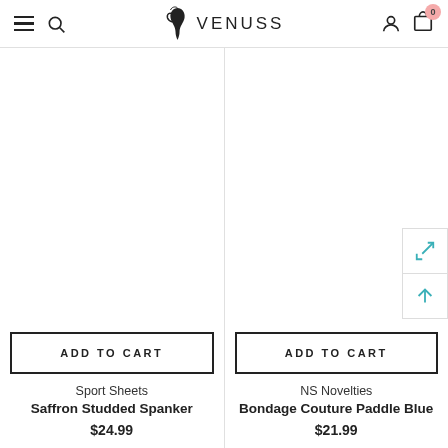VENUSS
ADD TO CART
Sport Sheets
Saffron Studded Spanker
$24.99
ADD TO CART
NS Novelties
Bondage Couture Paddle Blue
$21.99